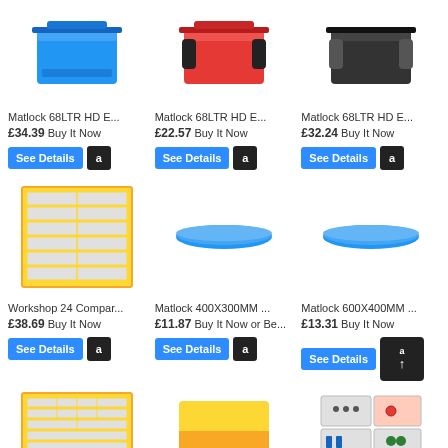[Figure (photo): Blue stackable plastic storage crate]
[Figure (photo): Red stackable plastic storage crate with black handles]
[Figure (photo): Black stackable plastic storage crate]
Matlock 68LTR HD E...
£34.39 Buy It Now
Matlock 68LTR HD E...
£22.57 Buy It Now
Matlock 68LTR HD E...
£32.24 Buy It Now
[Figure (photo): Yellow-framed workshop storage cabinet with multiple clear plastic drawers]
[Figure (photo): Blue flat plastic lid/tray]
[Figure (photo): Blue flat plastic lid/tray]
Workshop 24 Compar...
£38.69 Buy It Now
Matlock 400X300MM ...
£11.87 Buy It Now or Be...
Matlock 600X400MM ...
£13.31 Buy It Now
[Figure (photo): Yellow-framed workshop storage cabinet with multiple clear plastic drawers (smaller)]
[Figure (photo): Yellow plastic storage bin]
[Figure (photo): Assorted small parts and fixings in compartmented trays]